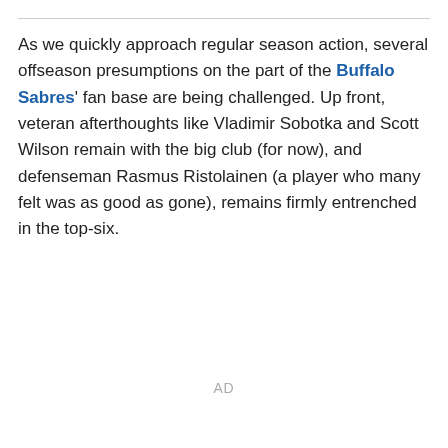As we quickly approach regular season action, several offseason presumptions on the part of the Buffalo Sabres' fan base are being challenged. Up front, veteran afterthoughts like Vladimir Sobotka and Scott Wilson remain with the big club (for now), and defenseman Rasmus Ristolainen (a player who many felt was as good as gone), remains firmly entrenched in the top-six.
AD